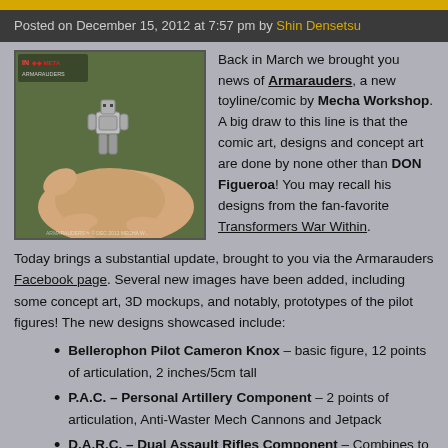Posted on December 15, 2012 at 7:57 pm by Shin Densetsu
[Figure (photo): A hand holding a small robot/mech action figure, approximately 2 inches tall, against a green background. Logo visible in top left corner.]
Back in March we brought you news of Armarauders, a new toyline/comic by Mecha Workshop. A big draw to this line is that the comic art, designs and concept art are done by none other than DON Figueroa! You may recall his designs from the fan-favorite Transformers War Within.
Today brings a substantial update, brought to you via the Armarauders Facebook page. Several new images have been added, including some concept art, 3D mockups, and notably, prototypes of the pilot figures! The new designs showcased include:
Bellerophon Pilot Cameron Knox – basic figure, 12 points of articulation, 2 inches/5cm tall
P.A.C. – Personal Artillery Component – 2 points of articulation, Anti-Waster Mech Cannons and Jetpack
D.A.R.C. – Dual Assault Rifles Component – Combines to